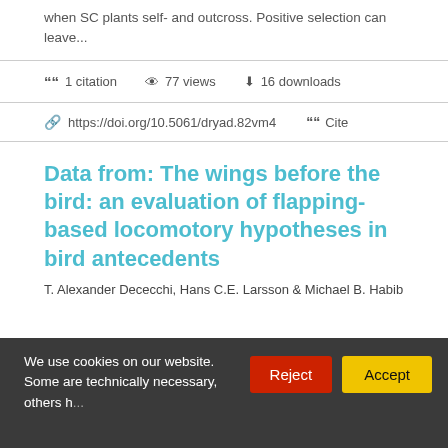when SC plants self- and outcross. Positive selection can leave...
1 citation   77 views   16 downloads
https://doi.org/10.5061/dryad.82vm4   Cite
Data from: The wings before the bird: an evaluation of flapping-based locomotory hypotheses in bird antecedents
T. Alexander Dececchi, Hans C.E. Larsson & Michael B. Habib
We use cookies on our website. Some are technically necessary, others help us...